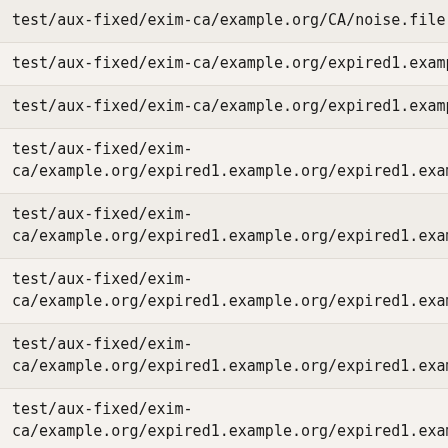test/aux-fixed/exim-ca/example.org/CA/noise.file
test/aux-fixed/exim-ca/example.org/expired1.example.org/ca_c
test/aux-fixed/exim-ca/example.org/expired1.example.org/cert
test/aux-fixed/exim-ca/example.org/expired1.example.org/expired1.example.org.cha
test/aux-fixed/exim-ca/example.org/expired1.example.org/expired1.example.org.key
test/aux-fixed/exim-ca/example.org/expired1.example.org/expired1.example.org.ocs
test/aux-fixed/exim-ca/example.org/expired1.example.org/expired1.example.org.ocs
test/aux-fixed/exim-ca/example.org/expired1.example.org/expired1.example.org.ocs